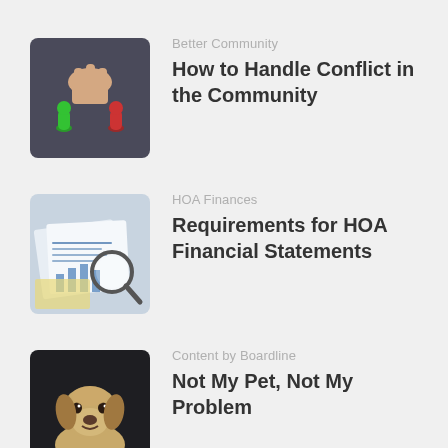[Figure (photo): Hand moving chess/game pieces (green and red figures) on a surface]
Better Community
How to Handle Conflict in the Community
[Figure (photo): Financial documents with magnifying glass on top of charts and graphs]
HOA Finances
Requirements for HOA Financial Statements
[Figure (photo): Yellow Labrador dog looking up against dark background]
Content by Boardline
Not My Pet, Not My Problem